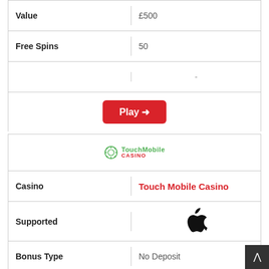| Field | Value |
| --- | --- |
| Value | £500 |
| Free Spins | 50 |
|  | - |
|  | Play → |
| Field | Value |
| --- | --- |
|  | TouchMobile Casino logo |
| Casino | Touch Mobile Casino |
| Supported | Apple (iOS) |
| Bonus Type | No Deposit |
| Match Pct | N/A |
| Value | £5 |
| Free Spins | 0 |
|  | - |